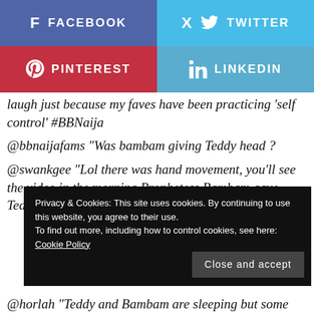[Figure (infographic): Social media share buttons: Facebook (blue-purple), Twitter (light blue), Pinterest (red), LinkedIn (light blue)]
laugh just because my faves have been practicing 'self control' #BBNaija
@bbnaijafams “Was bambam giving Teddy head ?
@swankgee “Lol there was hand movement, you’ll see the video in the morning Prophetess Bambam gave Teddy a handjob
Privacy & Cookies: This site uses cookies. By continuing to use this website, you agree to their use.
To find out more, including how to control cookies, see here: Cookie Policy
@horlah “Teddy and Bambam are sleeping but some